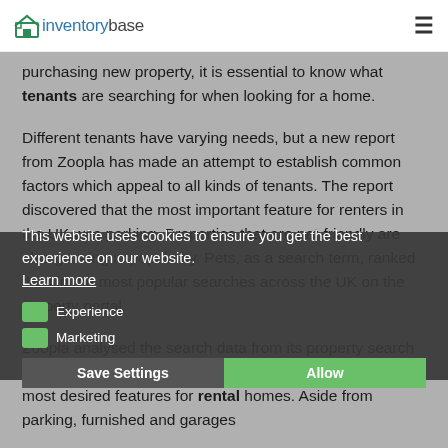inventorybase
purchasing new property, it is essential to know what tenants are searching for when looking for a home.
Different tenants have varying needs, but a new report from Zoopla has made an attempt to establish common factors which appeal to all kinds of tenants. The report discovered that the most important feature for renters in the UK was parking. Properties that are pet-friendly are also growing in popularity. Pets, as a search term, ranked third in the most popular searches across the UK on the property portal.
Zoopla analysed the search data from its property search tool, which focuses on keywords, to reveal the country's most desired features for rental homes. Aside from parking, furnished and garages
This website uses cookies to ensure you get the best experience on our website.
Learn more
Experience
Marketing
Save Settings
Allow